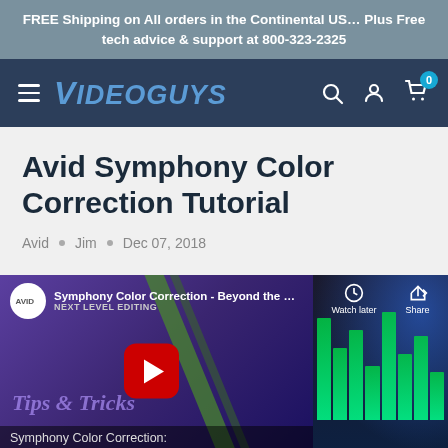FREE Shipping on All orders in the Continental US… Plus Free tech advice & support at 800-323-2325
[Figure (screenshot): Videoguys website navigation bar with hamburger menu, Videoguys logo, search, account, and cart (0) icons on dark blue background]
Avid Symphony Color Correction Tutorial
Avid • Jim • Dec 07, 2018
[Figure (screenshot): YouTube video thumbnail for 'Symphony Color Correction - Beyond the...' by Avid, showing Tips & Tricks text on purple background with green equalizer bars on right, red play button in center, and partial caption 'Symphony Color Correction:' at bottom]